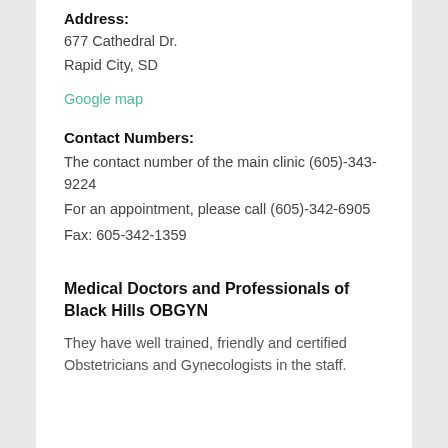Address:
677 Cathedral Dr.
Rapid City, SD
Google map
Contact Numbers:
The contact number of the main clinic (605)-343-9224
For an appointment, please call (605)-342-6905
Fax: 605-342-1359
Medical Doctors and Professionals of Black Hills OBGYN
They have well trained, friendly and certified Obstetricians and Gynecologists in the staff.